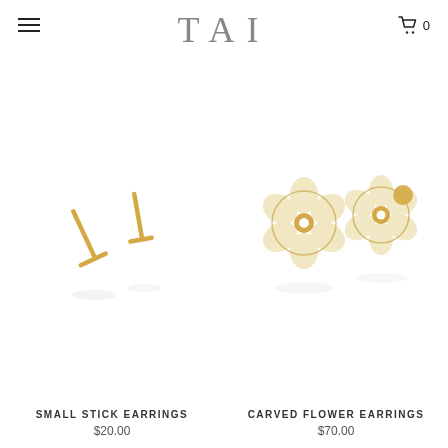TAI
[Figure (photo): Two small gold stick/bar stud earrings on white background with subtle reflection]
SMALL STICK EARRINGS
$20.00
[Figure (photo): Two gold flower stud earrings with mother-of-pearl petals and diamond center, shown from front and back, on white background with subtle reflection]
CARVED FLOWER EARRINGS
$70.00